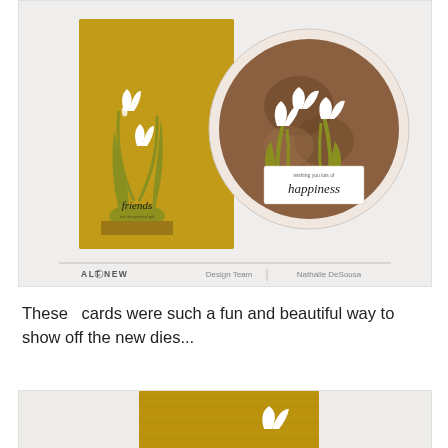[Figure (photo): Two handmade cards featuring snowdrop flowers. Left card has a golden/bronze textured background with white paper-cut snowdrops and the word 'friends'. Right card shows an oval window with snowdrops and text reading 'happiness'. Altenew Design Team Nathalie DeSousa credit at bottom.]
These  cards were such a fun and beautiful way to show off the new dies...
[Figure (photo): Partial view of a gold/bronze textured card with a paper snowdrop flower visible at the bottom edge.]